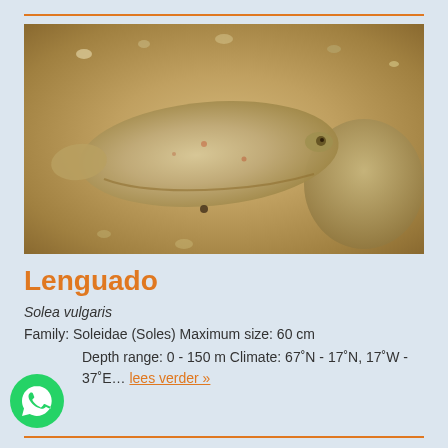[Figure (photo): A flatfish (Lenguado / Solea vulgaris) lying on sandy seafloor/beach, photographed from above. The fish is pale brownish-sandy colored and blends with the sand and shell fragments around it.]
Lenguado
Solea vulgaris
Family: Soleidae (Soles) Maximum size: 60 cm
Depth range: 0 - 150 m Climate: 67˚N - 17˚N, 17˚W - 37˚E... lees verder »